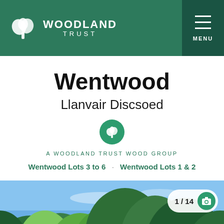WOODLAND TRUST — Navigation header with logo and menu
Wentwood
Llanvair Discsoed
A WOODLAND TRUST WOOD GROUP
Wentwood Lots 3 to 6 · Wentwood Lots 1 & 2
[Figure (photo): Woodland trees with blue sky — photo gallery image 1 of 14]